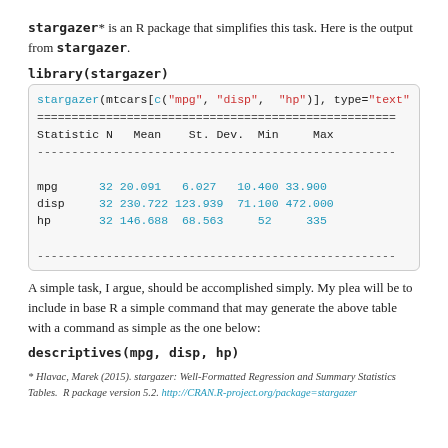stargazer* is an R package that simplifies this task. Here is the output from stargazer.
library(stargazer)
| Statistic | N | Mean | St. Dev. | Min | Max |
| --- | --- | --- | --- | --- | --- |
| mpg | 32 | 20.091 | 6.027 | 10.400 | 33.900 |
| disp | 32 | 230.722 | 123.939 | 71.100 | 472.000 |
| hp | 32 | 146.688 | 68.563 | 52 | 335 |
A simple task, I argue, should be accomplished simply. My plea will be to include in base R a simple command that may generate the above table with a command as simple as the one below:
descriptives(mpg, disp, hp)
* Hlavac, Marek (2015). stargazer: Well-Formatted Regression and Summary Statistics Tables. R package version 5.2. http://CRAN.R-project.org/package=stargazer